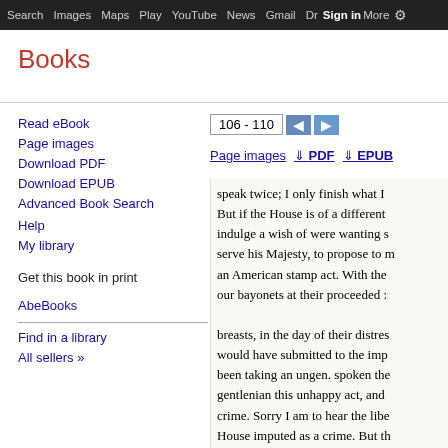Search  Images  Maps  Play  YouTube  News  Gmail  Drive  More  Sign in
Books
Read eBook
Page images
Download PDF
Download EPUB
Advanced Book Search
Help
My library
Get this book in print
AbeBooks
Find in a library
All sellers »
106 - 110
Page images  ↓ PDF  ↓ EPUB
speak twice; I only finish what I But if the House is of a different indulge a wish of were wanting s serve his Majesty, to propose to m an American stamp act. With the our bayonets at their proceeded : breasts, in the day of their distres would have submitted to the imp been taking an ungen. spoken the gentlenian this unhappy act, and crime. Sorry I am to hear the libe House imputed as a crime. But th discourage me. It is plied the nat of America. I stand up for ought Parliament by which the gentlem